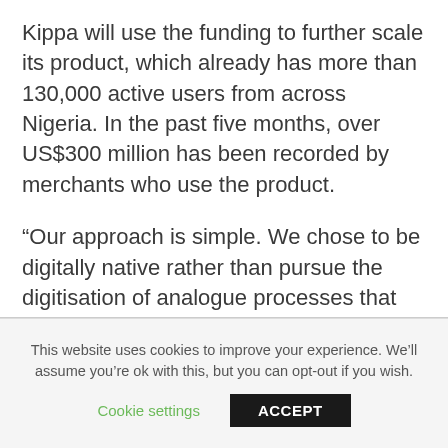Kippa will use the funding to further scale its product, which already has more than 130,000 active users from across Nigeria. In the past five months, over US$300 million has been recorded by merchants who use the product.
“Our approach is simple. We chose to be digitally native rather than pursue the digitisation of analogue processes that previous players have done. The long-term vision for Kippa is clear – we are building a full-
This website uses cookies to improve your experience. We’ll assume you’re ok with this, but you can opt-out if you wish.
Cookie settings
ACCEPT